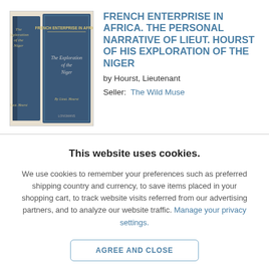[Figure (photo): Photo of two blue hardcover books: 'The Exploration of the Niger' and 'French Enterprise in Africa' by Lieut. Hourst, shown spine and front cover]
FRENCH ENTERPRISE IN AFRICA. THE PERSONAL NARRATIVE OF LIEUT. HOURST OF HIS EXPLORATION OF THE NIGER
by Hourst, Lieutenant
Seller:  The Wild Muse
This website uses cookies.
We use cookies to remember your preferences such as preferred shipping country and currency, to save items placed in your shopping cart, to track website visits referred from our advertising partners, and to analyze our website traffic. Manage your privacy settings.